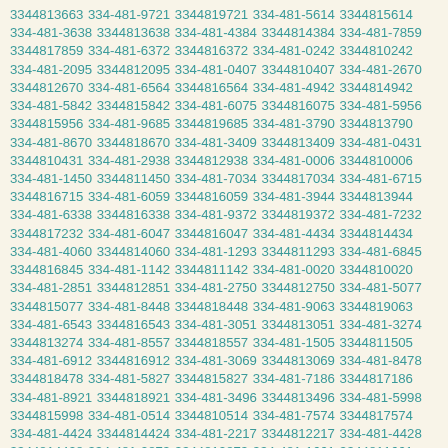3344813663 334-481-9721 3344819721 334-481-5614 3344815614 334-481-3638 3344813638 334-481-4384 3344814384 334-481-7859 3344817859 334-481-6372 3344816372 334-481-0242 3344810242 334-481-2095 3344812095 334-481-0407 3344810407 334-481-2670 3344812670 334-481-6564 3344816564 334-481-4942 3344814942 334-481-5842 3344815842 334-481-6075 3344816075 334-481-5956 3344815956 334-481-9685 3344819685 334-481-3790 3344813790 334-481-8670 3344818670 334-481-3409 3344813409 334-481-0431 3344810431 334-481-2938 3344812938 334-481-0006 3344810006 334-481-1450 3344811450 334-481-7034 3344817034 334-481-6715 3344816715 334-481-6059 3344816059 334-481-3944 3344813944 334-481-6338 3344816338 334-481-9372 3344819372 334-481-7232 3344817232 334-481-6047 3344816047 334-481-4434 3344814434 334-481-4060 3344814060 334-481-1293 3344811293 334-481-6845 3344816845 334-481-1142 3344811142 334-481-0020 3344810020 334-481-2851 3344812851 334-481-2750 3344812750 334-481-5077 3344815077 334-481-8448 3344818448 334-481-9063 3344819063 334-481-6543 3344816543 334-481-3051 3344813051 334-481-3274 3344813274 334-481-8557 3344818557 334-481-1505 3344811505 334-481-6912 3344816912 334-481-3069 3344813069 334-481-8478 3344818478 334-481-5827 3344815827 334-481-7186 3344817186 334-481-8921 3344818921 334-481-3496 3344813496 334-481-5998 3344815998 334-481-0514 3344810514 334-481-7574 3344817574 334-481-4424 3344814424 334-481-2217 3344812217 334-481-4428 3344814428 334-481-2873 3344812873 334-481-1661 3344811661 334-481-9733 3344819733 334-481-4967 3344814967 334-481-5134 3344815134 334-481-0363 3344810363 334-481-2347 3344812347 334-